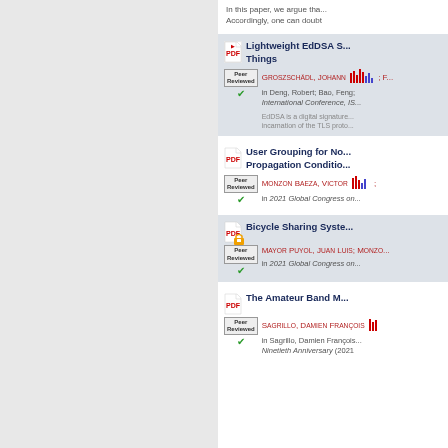In this paper, we argue tha... Accordingly, one can doubt
Lightweight EdDSA S... Things
Groszschädl, Johann; F... in Deng, Robert; Bao, Feng; International Conference, IS... EdDSA is a digital signature... incarnation of the TLS proto...
User Grouping for No... Propagation Conditio...
Monzon Baeza, Victor in 2021 Global Congress on...
Bicycle Sharing Syste...
Mayor Puyol, Juan Luis; Monzo... in 2021 Global Congress on...
The Amateur Band M...
Sagrillo, Damien François in Sagrillo, Damien François... Ninetieth Anniversary (2021)